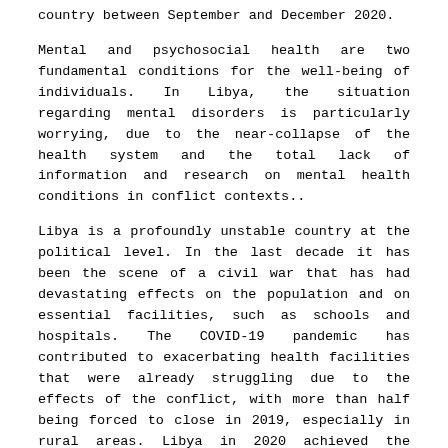country between September and December 2020.
Mental and psychosocial health are two fundamental conditions for the well-being of individuals. In Libya, the situation regarding mental disorders is particularly worrying, due to the near-collapse of the health system and the total lack of information and research on mental health conditions in conflict contexts..
Libya is a profoundly unstable country at the political level. In the last decade it has been the scene of a civil war that has had devastating effects on the population and on essential facilities, such as schools and hospitals. The COVID-19 pandemic has contributed to exacerbating health facilities that were already struggling due to the effects of the conflict, with more than half being forced to close in 2019, especially in rural areas. Libya in 2020 achieved the second highest number of attacks on health facilities in the world, indeed between January and September it recorded 28 attacks on medical facilities, some of them dedicated to the assistance of patients affected by COVID-19, which according to data from the United Nations Office for Humanitarian Affairs (OCHA) as of October 2020 amounted to 26,328. In light of this, MHPSS needs are often de-prioritized in conflict zones, despite the World Health Organization (WHO) pointing out from previous